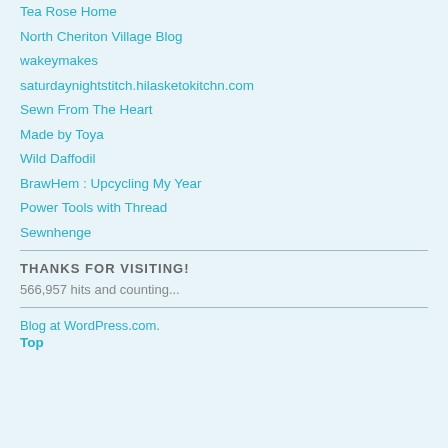Tea Rose Home
North Cheriton Village Blog
wakeymakes
saturdaynightstitch.hilasketokitchn.com
Sewn From The Heart
Made by Toya
Wild Daffodil
BrawHem : Upcycling My Year
Power Tools with Thread
Sewnhenge
THANKS FOR VISITING!
566,957 hits and counting...
Blog at WordPress.com.
Top